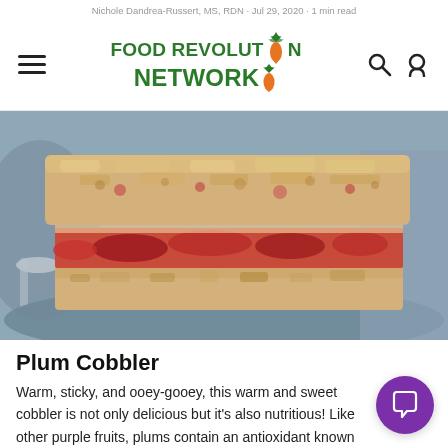Food Revolution Network
Nichole Dandrea-Russert, MS, RDN · Jul 29, 2020 · 1 min read
[Figure (photo): Close-up photo of a plum cobbler bar on a blue plate, showing layers of crumble topping, plum filling, and oat base.]
Plum Cobbler
Warm, sticky, and ooey-gooey, this warm and sweet cobbler is not only delicious but it's also nutritious! Like other purple fruits, plums contain an antioxidant known as anthocyanins, which have